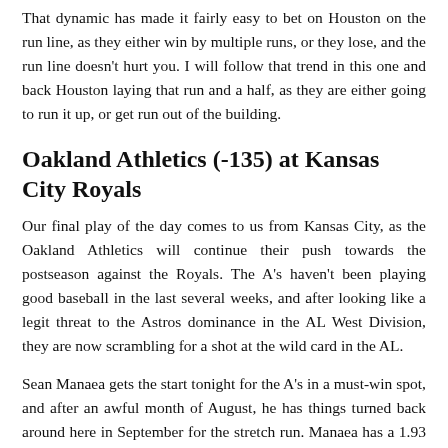That dynamic has made it fairly easy to bet on Houston on the run line, as they either win by multiple runs, or they lose, and the run line doesn't hurt you. I will follow that trend in this one and back Houston laying that run and a half, as they are either going to run it up, or get run out of the building.
Oakland Athletics (-135) at Kansas City Royals
Our final play of the day comes to us from Kansas City, as the Oakland Athletics will continue their push towards the postseason against the Royals. The A's haven't been playing good baseball in the last several weeks, and after looking like a legit threat to the Astros dominance in the AL West Division, they are now scrambling for a shot at the wild card in the AL.
Sean Manaea gets the start tonight for the A's in a must-win spot, and after an awful month of August, he has things turned back around here in September for the stretch run. Manaea has a 1.93 ERA this month in 2 starts, pitching 7 innings against both the White Sox and Blue Jays, 2 of the best hitting teams in